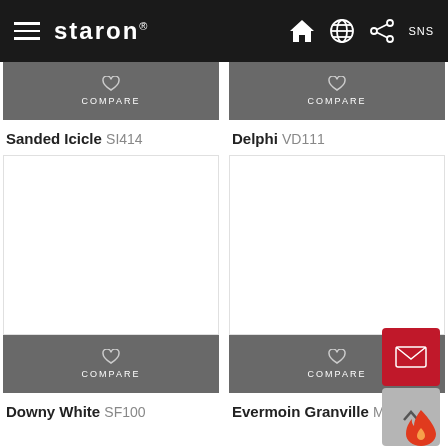staron
Sanded Icicle SI414
Delphi VD111
[Figure (photo): Downy White solid surface material sample - white color swatch]
Downy White SF100
[Figure (photo): Evermoin Granville solid surface material sample - white color swatch]
Evermoin Granville MG030